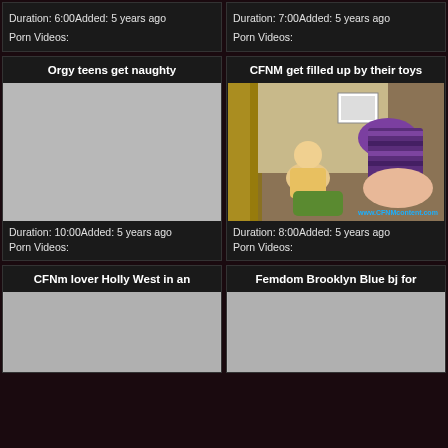Duration: 6:00Added: 5 years ago
Porn Videos:
Duration: 7:00Added: 5 years ago
Porn Videos:
Orgy teens get naughty
[Figure (photo): Gray placeholder thumbnail for video]
Duration: 10:00Added: 5 years ago
Porn Videos:
CFNM get filled up by their toys
[Figure (photo): Video thumbnail showing women in bedroom scene with watermark www.CFNMcontent.com]
Duration: 8:00Added: 5 years ago
Porn Videos:
CFNm lover Holly West in an
[Figure (photo): Gray placeholder thumbnail for video]
Femdom Brooklyn Blue bj for
[Figure (photo): Gray placeholder thumbnail for video]